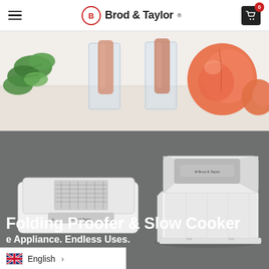Brod & Taylor
[Figure (photo): Food photo showing frozen popsicles in glasses with mint leaves and peaches on a white surface]
[Figure (photo): Two Brod & Taylor Folding Proofer & Slow Cooker appliances shown folded flat and assembled/open, white with silver accents, on a dark gray background]
Folding Proofer & Slow Cooker
One Appliance. Endless Uses.
English